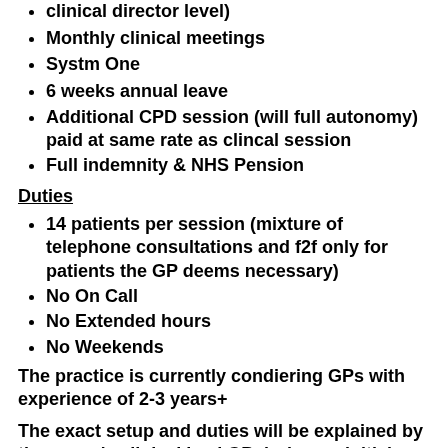clinical director level)
Monthly clinical meetings
Systm One
6 weeks annual leave
Additional CPD session (will full autonomy) paid at same rate as clincal session
Full indemnity & NHS Pension
Duties
14 patients per session (mixture of telephone consultations and f2f only for patients the GP deems necessary)
No On Call
No Extended hours
No Weekends
The practice is currently condiering GPs with experience of 2-3 years+
The exact setup and duties will be explained by the group's clinical lead GP during an initial informal